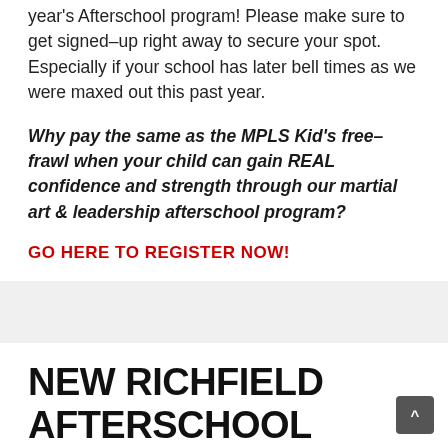year's Afterschool program! Please make sure to get signed–up right away to secure your spot. Especially if your school has later bell times as we were maxed out this past year.
Why pay the same as the MPLS Kid's free-frawl when your child can gain REAL confidence and strength through our martial art & leadership afterschool program?
GO HERE TO REGISTER NOW!
NEW RICHFIELD AFTERSCHOOL PICKUPS AVAILABLE!